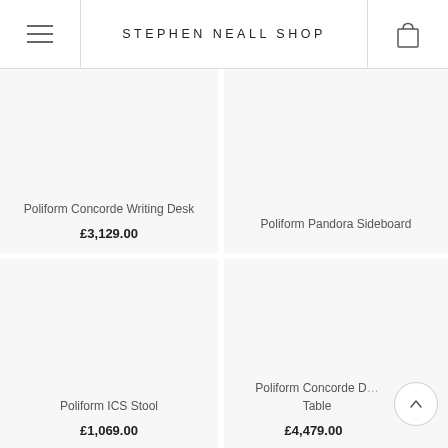STEPHEN NEALL SHOP
Poliform Concorde Writing Desk
£3,129.00
Poliform Pandora Sideboard
Poliform ICS Stool
£1,069.00
Poliform Concorde D... Table
£4,479.00